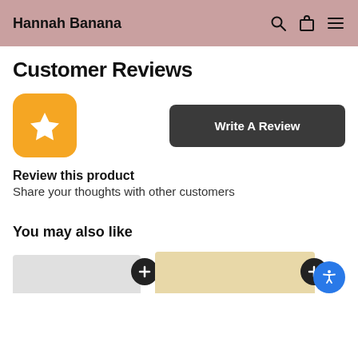Hannah Banana
Customer Reviews
[Figure (other): Orange rounded square icon with a white star]
Write A Review
Review this product
Share your thoughts with other customers
You may also like